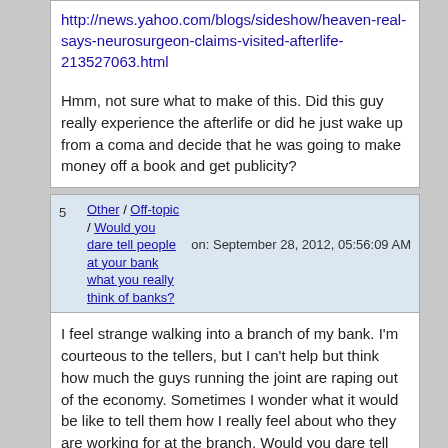http://news.yahoo.com/blogs/sideshow/heaven-real-says-neurosurgeon-claims-visited-afterlife-213527063.html
Hmm, not sure what to make of this. Did this guy really experience the afterlife or did he just wake up from a coma and decide that he was going to make money off a book and get publicity?
5  Other / Off-topic / Would you dare tell people at your bank what you really think of banks?  on: September 28, 2012, 05:56:09 AM
I feel strange walking into a branch of my bank. I'm courteous to the tellers, but I can't help but think how much the guys running the joint are raping out of the economy. Sometimes I wonder what it would be like to tell them how I really feel about who they are working for at the branch. Would you dare tell the people at your bank what you think of them (assuming you hate banks)?
Other / Politics &